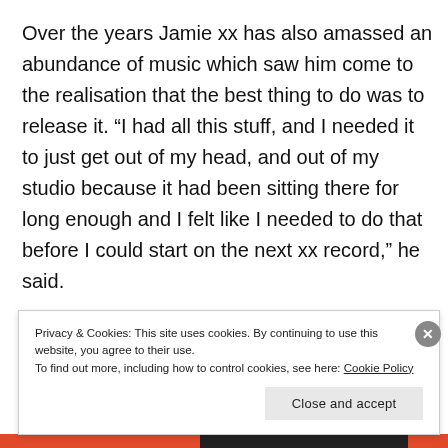Over the years Jamie xx has also amassed an abundance of music which saw him come to the realisation that the best thing to do was to release it. “I had all this stuff, and I needed it to just get out of my head, and out of my studio because it had been sitting there for long enough and I felt like I needed to do that before I could start on the next xx record,” he said.
Privacy & Cookies: This site uses cookies. By continuing to use this website, you agree to their use.
To find out more, including how to control cookies, see here: Cookie Policy